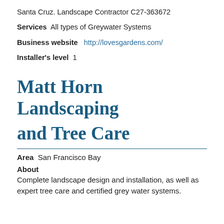Santa Cruz. Landscape Contractor C27-363672
Services  All types of Greywater Systems
Business website  http://lovesgardens.com/
Installer's level  1
Matt Horn Landscaping and Tree Care
Area  San Francisco Bay
About
Complete landscape design and installation, as well as expert tree care and certified grey water systems.